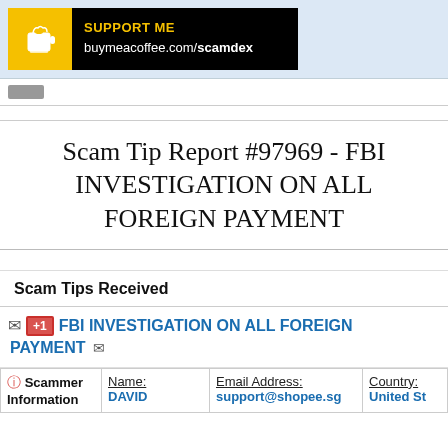SUPPORT ME buymeacoffee.com/scamdex
Scam Tip Report #97969 - FBI INVESTIGATION ON ALL FOREIGN PAYMENT
Scam Tips Received
FBI INVESTIGATION ON ALL FOREIGN PAYMENT
| Scammer Information | Name: | Email Address: | Country: |
| --- | --- | --- | --- |
|  | DAVID | support@shopee.sg | United St |